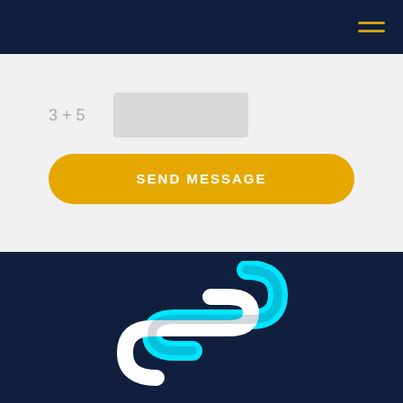[Figure (logo): Dark navy navigation bar with hamburger menu icon (three horizontal lines in gold/yellow) on the right side]
[Figure (other): CAPTCHA form field showing '3 + 5' math question with an input box, on a light gray background]
SEND MESSAGE
[Figure (logo): Scaitec Security Solutions Ltd logo - an S-shaped design with cyan/turquoise top portion and white bottom portion on dark navy background]
SCAITEC SECURITY SOLUTIONS LTD
OLD DONCASTER ROAD
WATH-UPON-DEARNE